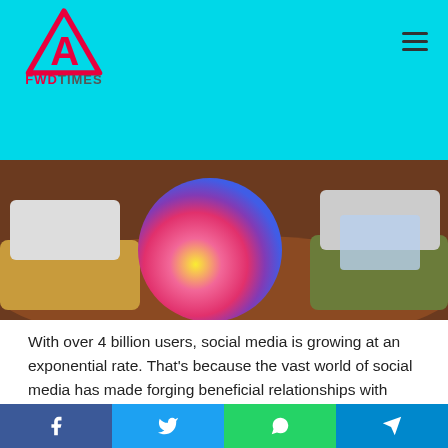FWD TIMES
[Figure (photo): Two people sitting on a brown leather couch, one holding a colorful circular social media icon, the other holding a tablet or card, suggesting social media discussion.]
With over 4 billion users, social media is growing at an exponential rate. That's because the vast world of social media has made forging beneficial relationships with prospective leads so simple.
But, even among this throng, one platform stands out as having enormous potential, far outshining its rivals.